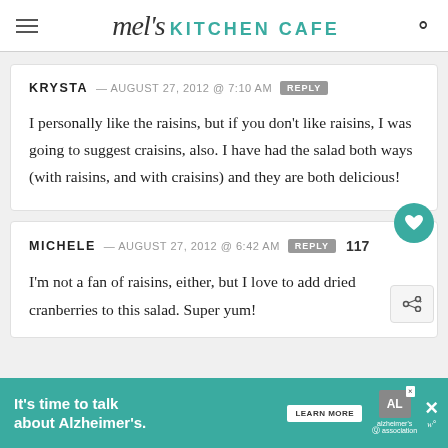mel's KITCHEN CAFE
KRYSTA — AUGUST 27, 2012 @ 7:10 AM  REPLY
I personally like the raisins, but if you don't like raisins, I was going to suggest craisins, also. I have had the salad both ways (with raisins, and with craisins) and they are both delicious!
MICHELE — AUGUST 27, 2012 @ 6:42 AM  REPLY  117
I'm not a fan of raisins, either, but I love to add dried cranberries to this salad. Super yum!
[Figure (infographic): Ad banner: It's time to talk about Alzheimer's. LEARN MORE button, Alzheimer's Association logo, close buttons.]